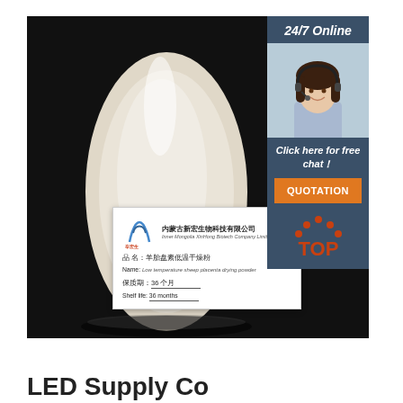[Figure (photo): Product photo of a white/cream powder in a glass vessel on a dark background, with a company label card showing Chinese and English text for Inner Mongolia Xinhong Biotech Company Limited, product name: low temperature sheep placenta drying powder, shelf life: 36 months. A sidebar shows a 24/7 online chat agent photo, click here for free chat text, and a QUOTATION button. A TOP badge is at the bottom right.]
LED Supply Co